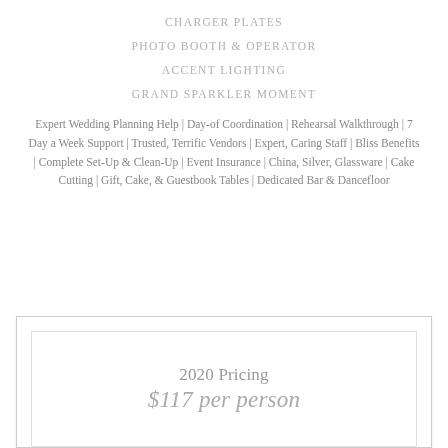CHARGER PLATES
PHOTO BOOTH & OPERATOR
ACCENT LIGHTING
GRAND SPARKLER MOMENT
Expert Wedding Planning Help | Day-of Coordination | Rehearsal Walkthrough | 7 Day a Week Support | Trusted, Terrific Vendors | Expert, Caring Staff | Bliss Benefits | Complete Set-Up & Clean-Up | Event Insurance | China, Silver, Glassware | Cake Cutting | Gift, Cake, & Guestbook Tables | Dedicated Bar & Dancefloor
2020 Pricing
$117 per person